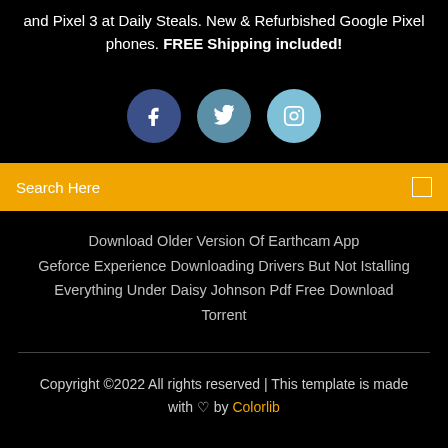and Pixel 3 at Daily Steals. New & Refurbished Google Pixel phones. FREE Shipping included!
[Figure (illustration): Three social media icon circles: Facebook (dark blue), Twitter (medium blue), Instagram (light blue)]
Search Here
Download Older Version Of Earthcam App
Geforce Experience Downloading Drivers But Not Istalling
Everything Under Daisy Johnson Pdf Free Download
Torrent
Copyright ©2022 All rights reserved | This template is made with ♡ by Colorlib